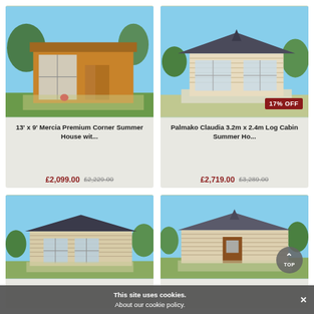[Figure (photo): 13x9 Mercia Premium Corner Summer House - wooden cabin with glass front panel, flat roof, on green lawn]
13' x 9' Mercia Premium Corner Summer House wit...
£2,099.00  £2,229.00
[Figure (photo): Palmako Claudia 3.2m x 2.4m Log Cabin Summer House - light wood cabin with pitched roof and large windows, 17% OFF badge]
Palmako Claudia 3.2m x 2.4m Log Cabin Summer Ho...
£2,719.00  £3,289.00
[Figure (photo): Bottom left garden cabin - light wood summer house with pitched roof and large window]
[Figure (photo): Bottom right garden cabin - light wood summer house with pitched roof and brown door, with TOP navigation button]
This site uses cookies.
About our cookie policy.